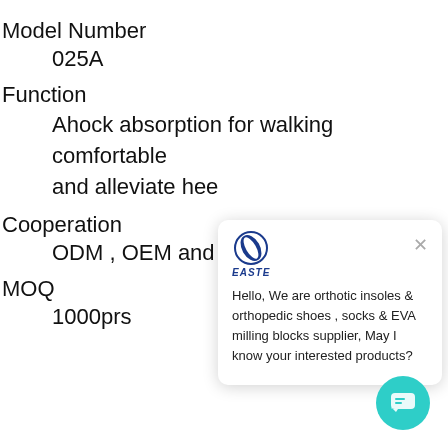Model Number
025A
Function
Ahock absorption for walking comfortable and alleviate hee
Cooperation
ODM , OEM and
MOQ
1000prs
[Figure (screenshot): Chat popup widget from EASTE showing message: Hello, We are orthotic insoles & orthopedic shoes , socks & EVA milling blocks supplier, May I know your interested products?]